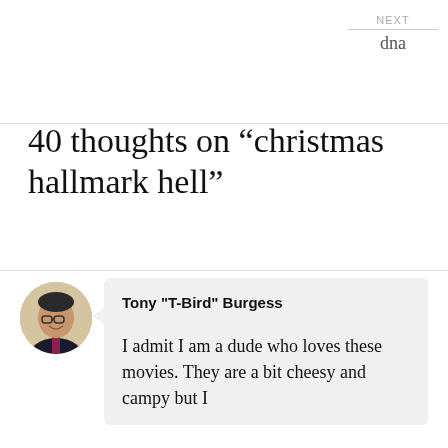NEXT
dna
40 thoughts on “christmas hallmark hell”
Tony "T-Bird" Burgess

I admit I am a dude who loves these movies. They are a bit cheesy and campy but I